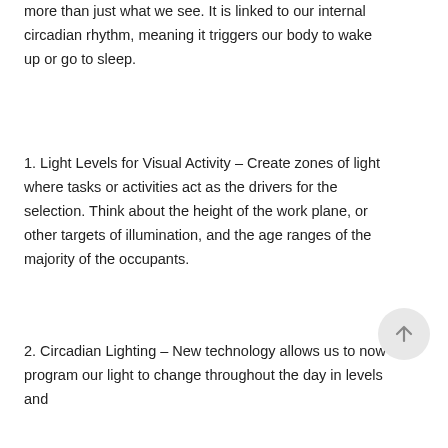more than just what we see. It is linked to our internal circadian rhythm, meaning it triggers our body to wake up or go to sleep.
1. Light Levels for Visual Activity – Create zones of light where tasks or activities act as the drivers for the selection. Think about the height of the work plane, or other targets of illumination, and the age ranges of the majority of the occupants.
2. Circadian Lighting – New technology allows us to now program our light to change throughout the day in levels and